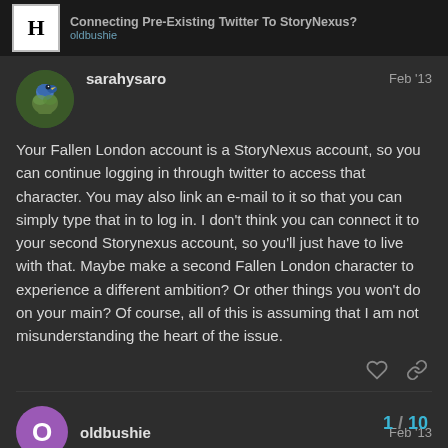Connecting Pre-Existing Twitter To StoryNexus? | oldbushie
sarahysaro — Feb '13
Your Fallen London account is a StoryNexus account, so you can continue logging in through twitter to access that character. You may also link an e-mail to it so that you can simply type that in to log in. I don't think you can connect it to your second Storynexus account, so you'll just have to live with that. Maybe make a second Fallen London character to experience a different ambition? Or other things you won't do on your main? Of course, all of this is assuming that I am not misunderstanding the heart of the issue.
oldbushie — Feb '13
1 / 10